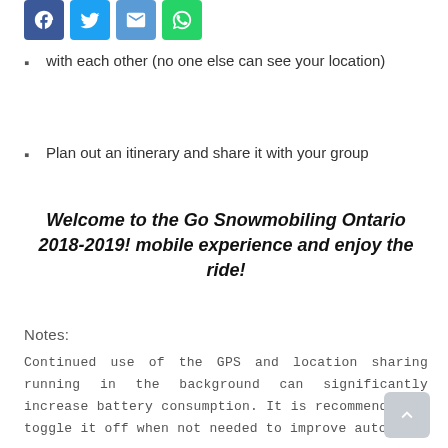[Figure (other): Row of four social sharing icons: Facebook (blue), Twitter (light blue), Email (blue), WhatsApp (green)]
with each other (no one else can see your location)
Plan out an itinerary and share it with your group
Welcome to the Go Snowmobiling Ontario 2018-2019! mobile experience and enjoy the ride!
Notes:
Continued use of the GPS and location sharing running in the background can significantly increase battery consumption. It is recommended to toggle it off when not needed to improve autonomy.